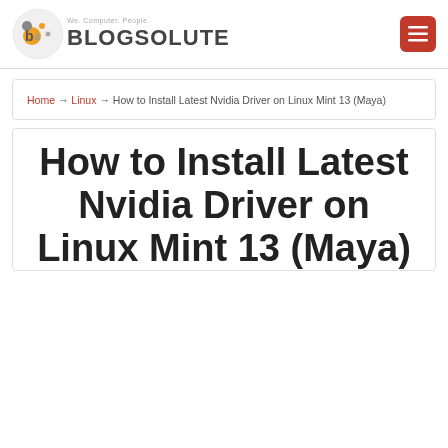Blogsolute — We. Computer. People.
Home → Linux → How to Install Latest Nvidia Driver on Linux Mint 13 (Maya)
How to Install Latest Nvidia Driver on Linux Mint 13 (Maya)